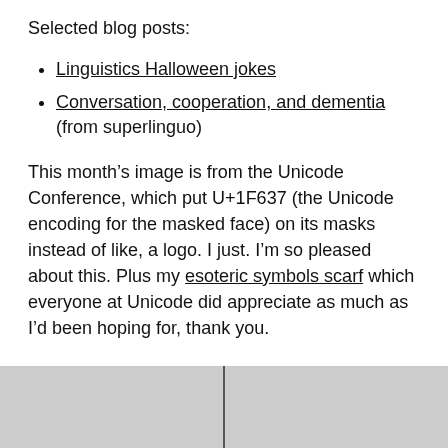Selected blog posts:
Linguistics Halloween jokes
Conversation, cooperation, and dementia (from superlinguo)
This month’s image is from the Unicode Conference, which put U+1F637 (the Unicode encoding for the masked face) on its masks instead of like, a logo. I just. I’m so pleased about this. Plus my esoteric symbols scarf which everyone at Unicode did appreciate as much as I’d been hoping for, thank you.
[Figure (photo): A grainy/textured photograph with a vertical dark line dividing the image roughly in the center, light grey textured background.]